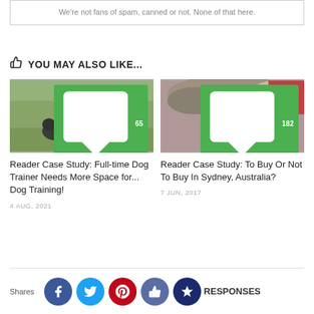We're not fans of spam, canned or not. None of that here.
👍 YOU MAY ALSO LIKE...
[Figure (photo): Woman with two dogs in a wooded outdoor setting, comment badge showing 65]
Reader Case Study: Full-time Dog Trainer Needs More Space for... Dog Training!
4 AUG, 2021
[Figure (photo): Baby lying next to large dogs/cats, comment badge showing 182]
Reader Case Study: To Buy Or Not To Buy In Sydney, Australia?
7 JUN, 2017
Shares
RESPONSES